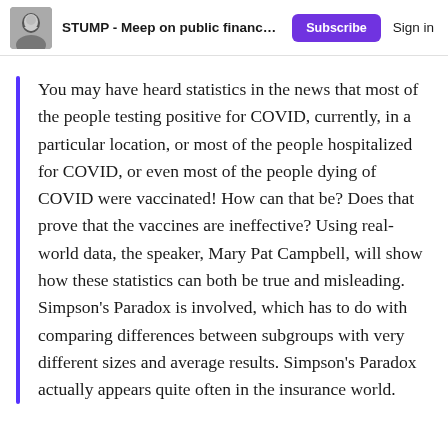STUMP - Meep on public finance,...  Subscribe  Sign in
You may have heard statistics in the news that most of the people testing positive for COVID, currently, in a particular location, or most of the people hospitalized for COVID, or even most of the people dying of COVID were vaccinated! How can that be? Does that prove that the vaccines are ineffective? Using real-world data, the speaker, Mary Pat Campbell, will show how these statistics can both be true and misleading. Simpson's Paradox is involved, which has to do with comparing differences between subgroups with very different sizes and average results. Simpson's Paradox actually appears quite often in the insurance world.